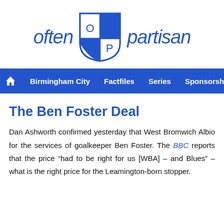[Figure (logo): Often Partisan logo with blue shield containing O and P in quadrant design, flanked by italic text 'often' and 'partisan' in blue]
Birmingham City   Factfiles   Series   Sponsorship   We...
The Ben Foster Deal
Dan Ashworth confirmed yesterday that West Bromwich Albion for the services of goalkeeper Ben Foster. The BBC reports that the price “had to be right for us [WBA] – and Blues” – what is the right price for the Leamington-born stopper.